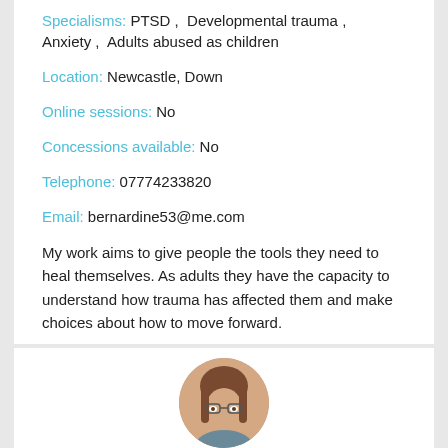Specialisms: PTSD , Developmental trauma , Anxiety , Adults abused as children
Location: Newcastle, Down
Online sessions: No
Concessions available: No
Telephone: 07774233820
Email: bernardine53@me.com
My work aims to give people the tools they need to heal themselves. As adults they have the capacity to understand how trauma has affected them and make choices about how to move forward.
[Figure (photo): Circular profile photo of a person with brown hair and glasses, partially visible at the bottom of the page]